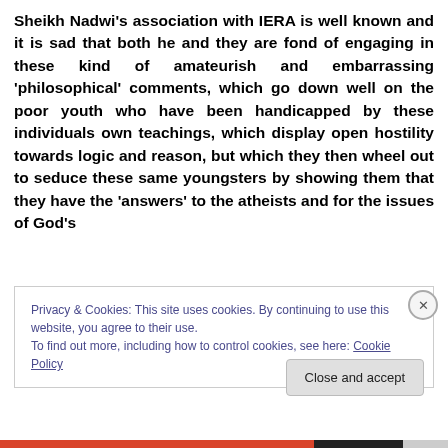Sheikh Nadwi’s association with IERA is well known and it is sad that both he and they are fond of engaging in these kind of amateurish and embarrassing ‘philosophical’ comments, which go down well on the poor youth who have been handicapped by these individuals own teachings, which display open hostility towards logic and reason, but which they then wheel out to seduce these same youngsters by showing them that they have the ‘answers’ to the atheists and for the issues of God’s
Privacy & Cookies: This site uses cookies. By continuing to use this website, you agree to their use.
To find out more, including how to control cookies, see here: Cookie Policy
Close and accept